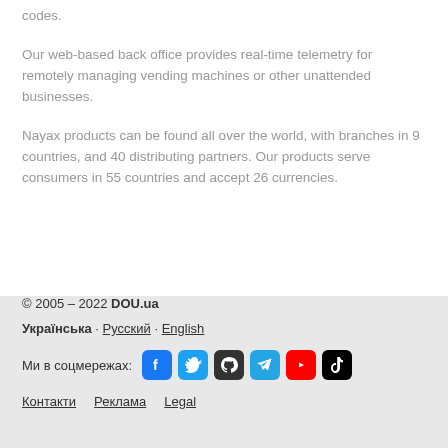codes.
Our web-based back office provides real-time telemetry for remotely managing vending machines or other unattended businesses.
Nayax products can be found all over the world, with branches in 9 countries, and 40 distributing partners. Our products serve consumers in 55 countries and accept 26 currencies.
© 2005 – 2022 DOU.ua
Українська · Русский · English
Ми в соцмережах: [Facebook] [Twitter] [GitHub] [Telegram] [YouTube] [TikTok]
Контакти   Реклама   Legal